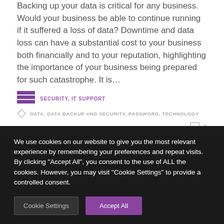Backing up your data is critical for any business. Would your business be able to continue running if it suffered a loss of data? Downtime and data loss can have a substantial cost to your business both financially and to your reputation, highlighting the importance of your business being prepared for such catastrophe. It is…
SECURITY, IT SUPPORT
DATA, DATA BACKUP AND SECURITY, PASSWORD, TECHNOLOGY
0
[Figure (photo): Colorful browser/app icons on a light blue background]
We use cookies on our website to give you the most relevant experience by remembering your preferences and repeat visits. By clicking "Accept All", you consent to the use of ALL the cookies. However, you may visit "Cookie Settings" to provide a controlled consent.
Cookie Settings
Accept All